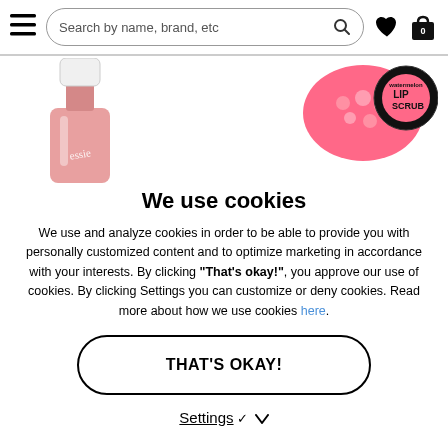Search by name, brand, etc
[Figure (photo): Pink nail polish bottle (essie brand) and a watermelon lip scrub jar partially visible behind a cookie consent overlay]
We use cookies
We use and analyze cookies in order to be able to provide you with personally customized content and to optimize marketing in accordance with your interests. By clicking "That's okay!", you approve our use of cookies. By clicking Settings you can customize or deny cookies. Read more about how we use cookies here.
THAT'S OKAY!
Settings